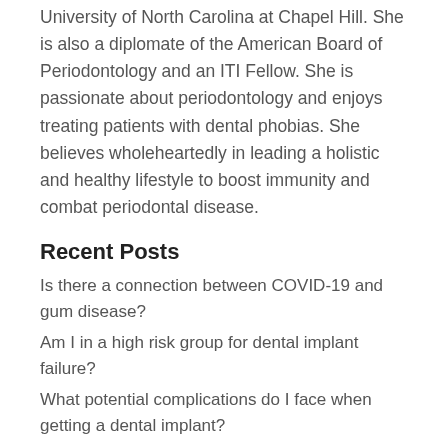University of North Carolina at Chapel Hill. She is also a diplomate of the American Board of Periodontology and an ITI Fellow. She is passionate about periodontology and enjoys treating patients with dental phobias. She believes wholeheartedly in leading a holistic and healthy lifestyle to boost immunity and combat periodontal disease.
Recent Posts
Is there a connection between COVID-19 and gum disease?
Am I in a high risk group for dental implant failure?
What potential complications do I face when getting a dental implant?
Wanna get a dental implant? Here’s what you should know beforehand.
The Best Receding Gums Treatment and All You Need to Know About It